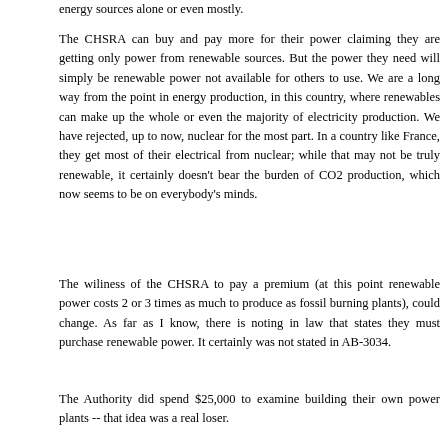energy sources alone or even mostly.
The CHSRA can buy and pay more for their power claiming they are getting only power from renewable sources. But the power they need will simply be renewable power not available for others to use. We are a long way from the point in energy production, in this country, where renewables can make up the whole or even the majority of electricity production. We have rejected, up to now, nuclear for the most part. In a country like France, they get most of their electrical from nuclear; while that may not be truly renewable, it certainly doesn't bear the burden of CO2 production, which now seems to be on everybody's minds.
The wiliness of the CHSRA to pay a premium (at this point renewable power costs 2 or 3 times as much to produce as fossil burning plants), could change. As far as I know, there is noting in law that states they must purchase renewable power. It certainly was not stated in AB-3034.
The Authority did spend $25,000 to examine building their own power plants -- that idea was a real loser.
But...